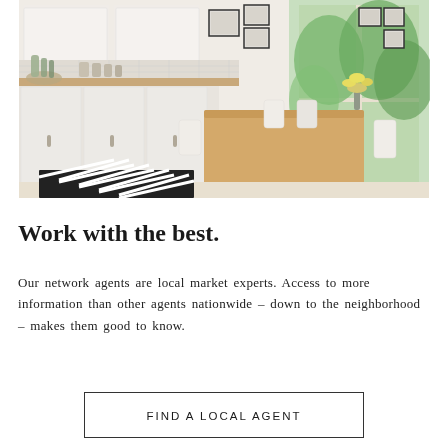[Figure (photo): Bright Scandinavian-style kitchen and dining area with white cabinets, wooden countertop, white chairs, wooden dining table, yellow flowers, framed art on walls, and large windows with green foliage outside. Black and white herringbone rug on light wood floor.]
Work with the best.
Our network agents are local market experts. Access to more information than other agents nationwide – down to the neighborhood – makes them good to know.
FIND A LOCAL AGENT